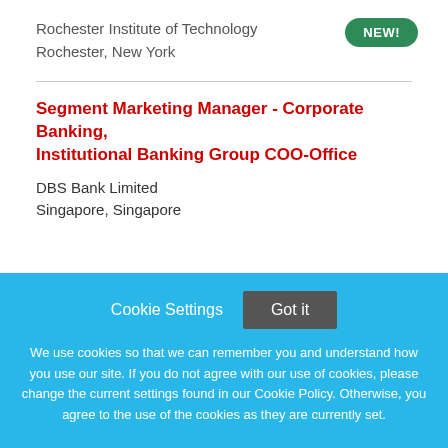Rochester Institute of Technology
Rochester, New York
NEW!
Segment Marketing Manager - Corporate Banking, Institutional Banking Group COO-Office
DBS Bank Limited
Singapore, Singapore
Cookie Settings  Got it
We use cookies so that we can remember you and understand how you use our site. If you do not agree with our use of cookies, please change the current settings found in our Cookie Policy. Otherwise, you agree to the use of the cookies as they are currently set.